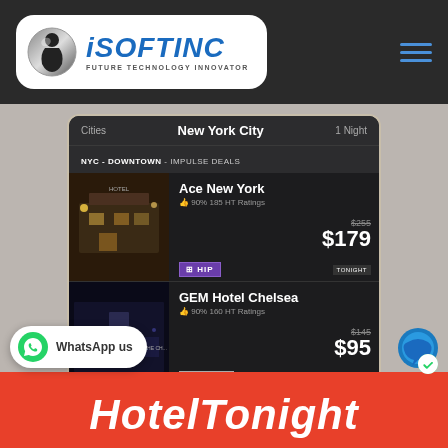[Figure (logo): iSOFTINC logo with tagline FUTURE TECHNOLOGY INNOVATOR on dark header bar]
[Figure (screenshot): Mobile app screenshot showing HotelTonight app with New York City hotel listings: Ace New York ($255 original, $179 tonight, HIP badge, 90% 185 HT Ratings) and GEM Hotel Chelsea ($145 original, $95 tonight, BASIC badge, 90% 160 HT Ratings), plus partial Flatiron Hotel listing. Navigation shows Cities / New York City / 1 Night and NYC - DOWNTOWN - IMPULSE DEALS section.]
[Figure (logo): WhatsApp us button with green WhatsApp icon]
HotelTonight